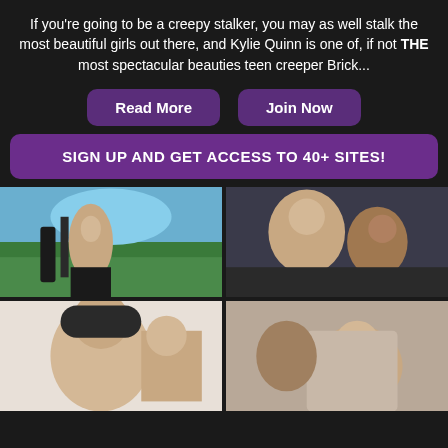If you're going to be a creepy stalker, you may as well stalk the most beautiful girls out there, and Kylie Quinn is one of, if not THE most spectacular beauties teen creeper Brick...
Read More | Join Now
SIGN UP AND GET ACCESS TO 40+ SITES!
[Figure (photo): Outdoor photo of a young woman in black lingerie with a man dressed in black behind her, near a waterfall and trees]
[Figure (photo): Intimate photo of a man and woman on a bed]
[Figure (photo): Close-up of a woman and man in a beanie hat]
[Figure (photo): Intimate close-up photo]